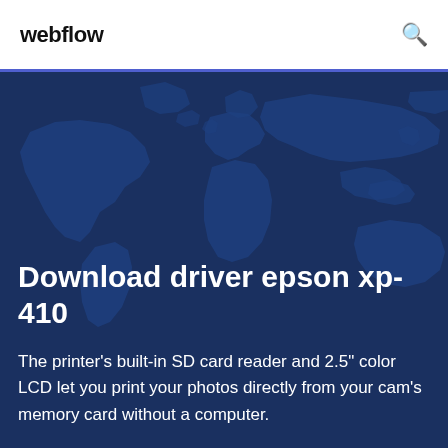webflow
[Figure (illustration): Dark blue hero banner with a world map silhouette in the background]
Download driver epson xp-410
The printer’s built-in SD card reader and 2.5” color LCD let you print your photos directly from your cam’s memory card without a computer.